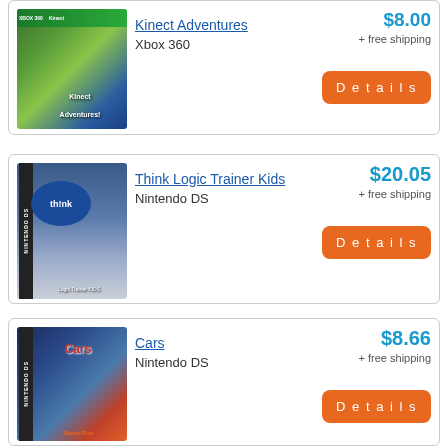[Figure (screenshot): Kinect Adventures Xbox 360 game box art]
Kinect Adventures
Xbox 360
$8.00
+ free shipping
Details
[Figure (screenshot): Think Logic Trainer Kids Nintendo DS game box art]
Think Logic Trainer Kids
Nintendo DS
$20.05
+ free shipping
Details
[Figure (screenshot): Cars Nintendo DS game box art]
Cars
Nintendo DS
$8.66
+ free shipping
Details